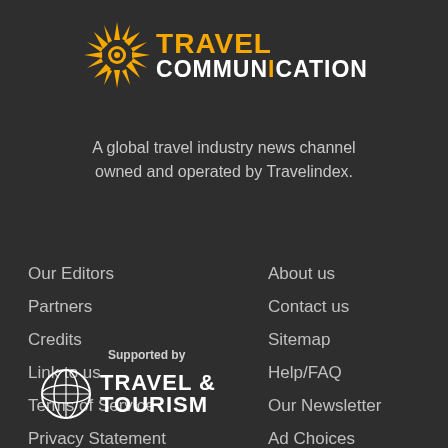[Figure (logo): Travel Communication logo with orange sun/compass icon and orange TRAVEL text with white COMMUNICATION text]
A global travel industry news channel owned and operated by Travelindex.
Our Editors
Partners
Credits
Link to us
Terms of Service
Privacy Statement
About us
Contact us
Sitemap
Help/FAQ
Our Newsletter
Ad Choices
Supported by
[Figure (logo): Travel & Tourism Council logo with globe icon and TRAVEL & TOURISM text in white]